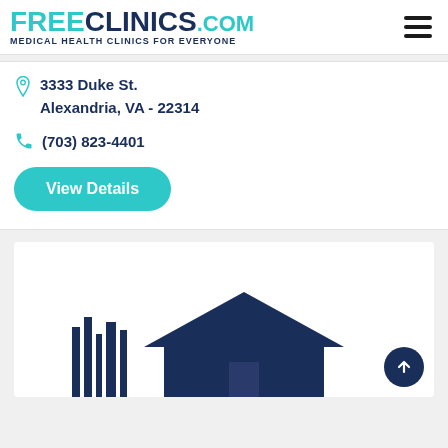FREECLINICS.COM - Medical Health Clinics For Everyone
3333 Duke St.
Alexandria, VA - 22314
(703) 823-4401
View Details
[Figure (illustration): Partial map or location illustration showing dark navy blue building silhouettes/skyline at the bottom of the card]